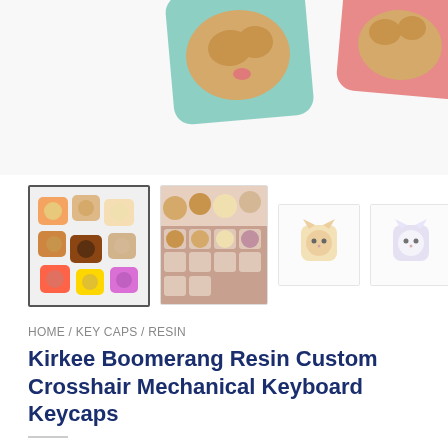[Figure (photo): Top portion of product photo showing cat-themed resin keycaps on teal and pink backgrounds, partially cropped at top]
[Figure (photo): Thumbnail row: 1) Selected thumbnail showing multiple colorful cat keycaps on colored bases; 2) Thumbnail showing cat keycaps on keyboard; 3) Small faded thumbnail of single orange/cream cat keycap; 4) Small faded thumbnail of single white/lavender cat keycap]
HOME / KEY CAPS / RESIN
Kirkee Boomerang Resin Custom Crosshair Mechanical Keyboard Keycaps
$49.99
Made of High-Quality Resin
Suitable for Most Keyboards with Mechanical